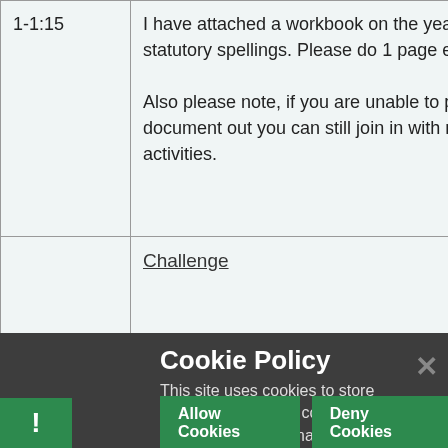| Time | Content |
| --- | --- |
| 1-1:15 | I have attached a workbook on the year 5 statutory spellings. Please do 1 page each

Also please note, if you are unable to print the document out you can still join in with most activities. |
|  | Challenge

Look at the new challenge video document below
1:15
At the end...section of the... |
Cookie Policy
This site uses cookies to store information on your computer. Click here for more information